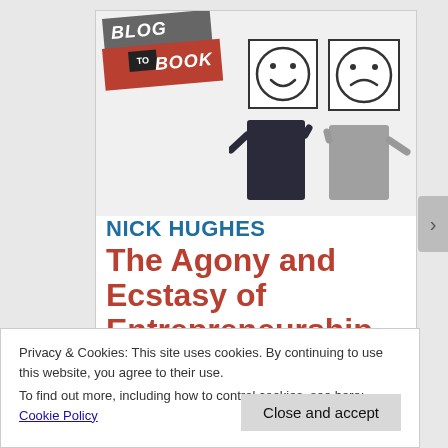[Figure (illustration): Book cover for 'The Agony and Ecstasy of Entrepreneurship' by Nick Hughes. Features a 'Blog to Book' badge in upper left, two people holding happy and sad face signs in upper right. Author name in blue, book title in red/orange, subtitle in black below.]
Privacy & Cookies: This site uses cookies. By continuing to use this website, you agree to their use.
To find out more, including how to control cookies, see here: Cookie Policy
Close and accept